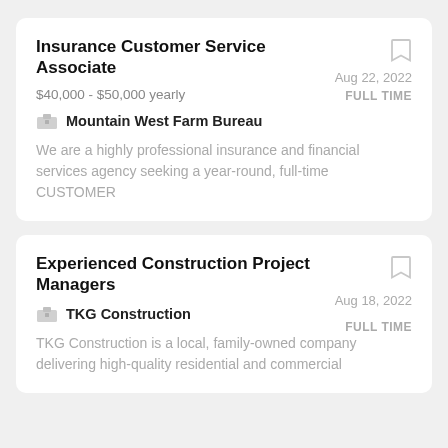Insurance Customer Service Associate
$40,000 - $50,000 yearly
Mountain West Farm Bureau
Aug 22, 2022
FULL TIME
We are a highly professional insurance and financial services agency seeking a year-round, full-time  CUSTOMER
Experienced Construction Project Managers
Aug 18, 2022
FULL TIME
TKG Construction
TKG Construction is a local, family-owned company delivering high-quality residential and commercial